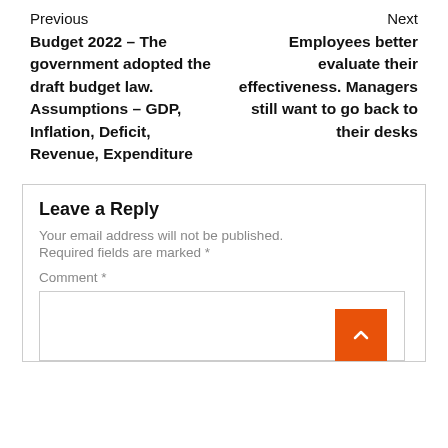Previous
Next
Budget 2022 – The government adopted the draft budget law. Assumptions – GDP, Inflation, Deficit, Revenue, Expenditure
Employees better evaluate their effectiveness. Managers still want to go back to their desks
Leave a Reply
Your email address will not be published. Required fields are marked *
Comment *